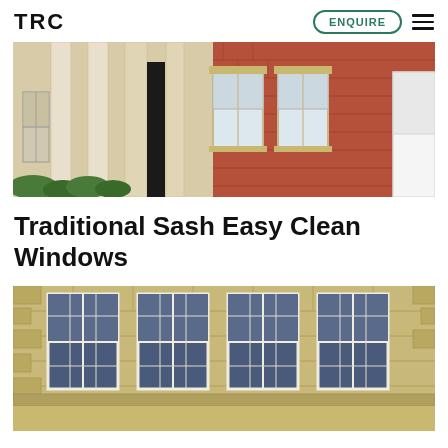TRC
[Figure (photo): Exterior of a traditional brick building with white classical columns and white sash windows]
Traditional Sash Easy Clean Windows
[Figure (photo): Exterior of a stone-clad building facade with multiple white sash windows in a grid pattern]